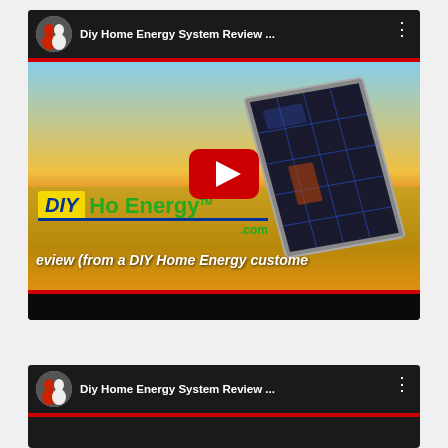[Figure (screenshot): YouTube video card showing 'Diy Home Energy System Review ...' with a solar panel thumbnail, DIY Home Energy logo, play button overlay, and review text partially visible]
[Figure (screenshot): Second YouTube video card (partially visible at bottom) showing same 'Diy Home Energy System Review ...' title]